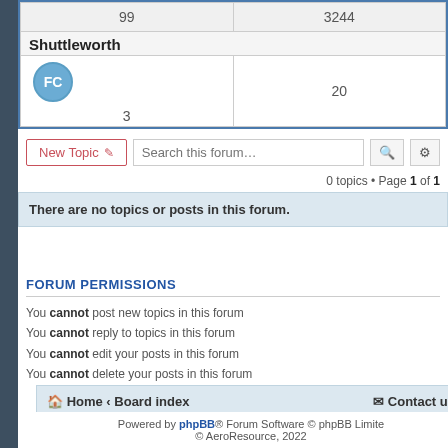| 99 | 3244 |
| Shuttleworth |  |
| FC (avatar) | 3 | 20 |
New Topic  Search this forum…
0 topics • Page 1 of 1
There are no topics or posts in this forum.
FORUM PERMISSIONS
You cannot post new topics in this forum
You cannot reply to topics in this forum
You cannot edit your posts in this forum
You cannot delete your posts in this forum
Home · Board index   Contact us
Powered by phpBB® Forum Software © phpBB Limited © AeroResource, 2022